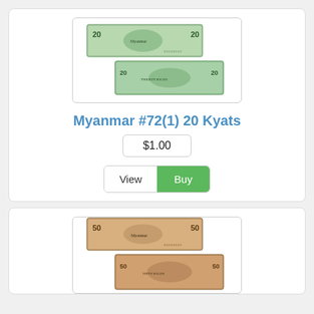[Figure (photo): Image of Myanmar 20 Kyats banknote, front and back view]
Myanmar #72(1) 20 Kyats
$1.00
View | Buy
[Figure (photo): Image of Myanmar 50 Kyats banknote, front and back view (partially visible)]